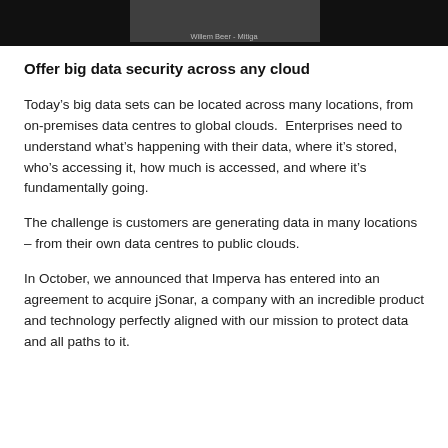[Figure (photo): Dark banner/screenshot showing a person in a video frame with a name tag reading 'Willem Beer - Mitiga' at the bottom]
Offer big data security across any cloud
Today’s big data sets can be located across many locations, from on-premises data centres to global clouds.  Enterprises need to understand what’s happening with their data, where it’s stored, who’s accessing it, how much is accessed, and where it’s fundamentally going.
The challenge is customers are generating data in many locations – from their own data centres to public clouds.
In October, we announced that Imperva has entered into an agreement to acquire jSonar, a company with an incredible product and technology perfectly aligned with our mission to protect data and all paths to it.